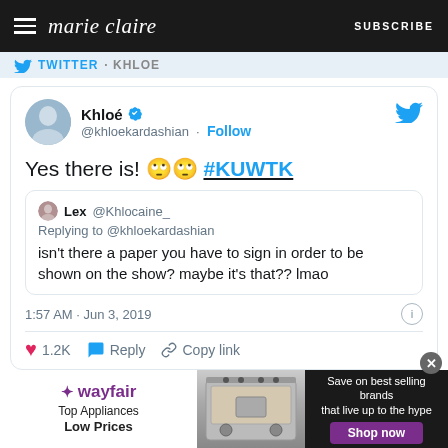marie claire — SUBSCRIBE
TWITTER · KHLOE
[Figure (screenshot): Embedded tweet from Khloé @khloekardashian: 'Yes there is! 🙄🙄 #KUWTK', with a quoted tweet from Lex @Khlocaine_ replying to @khloekardashian: 'isn't there a paper you have to sign in order to be shown on the show? maybe it's that?? lmao'. Timestamp: 1:57 AM · Jun 3, 2019. 1.2K likes. Reply and Copy link options.]
[Figure (advertisement): Wayfair ad: Top Appliances Low Prices. Save on best selling brands that live up to the hype. Shop now button.]